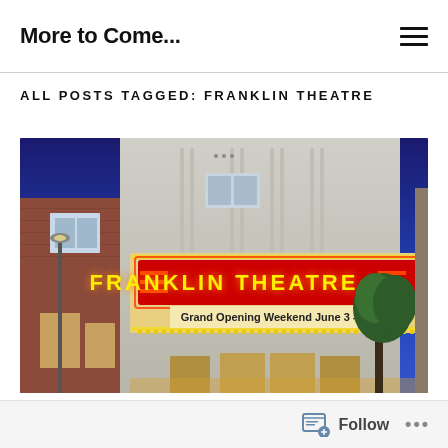More to Come...
ALL POSTS TAGGED: FRANKLIN THEATRE
[Figure (photo): Night photograph of the Franklin Theatre marquee with neon red sign reading 'FRANKLIN THEATRE' and marquee text 'Grand Opening Weekend June 3 - 5!' against a deep blue dusk sky.]
Follow ...